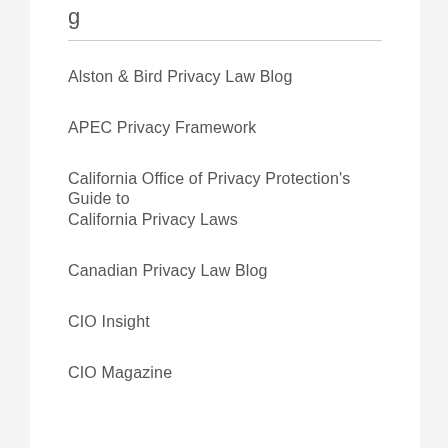Alston & Bird Privacy Law Blog
APEC Privacy Framework
California Office of Privacy Protection's Guide to California Privacy Laws
Canadian Privacy Law Blog
CIO Insight
CIO Magazine